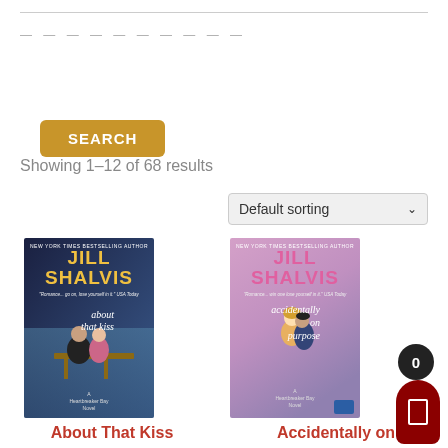Showing 1–12 of 68 results
Default sorting
[Figure (illustration): Book cover: About That Kiss by Jill Shalvis, A Heartbreaker Bay Novel]
About That Kiss
[Figure (illustration): Book cover: Accidentally on Purpose by Jill Shalvis, A Heartbreaker Bay Novel]
Accidentally on